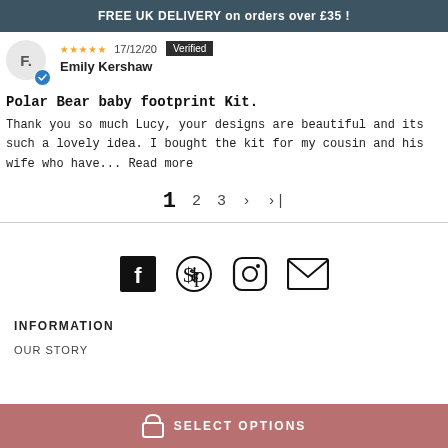FREE UK DELIVERY on orders over £35 !
F. Emily Kershaw ★★★★★ 17/12/20 Verified
Polar Bear baby footprint Kit.
Thank you so much Lucy, your designs are beautiful and its such a lovely idea. I bought the kit for my cousin and his wife who have... Read more
1  2  3  >  >|
[Figure (infographic): Social media icons: Facebook, Pinterest, Instagram, Email]
INFORMATION
OUR STORY
SELECT OPTIONS